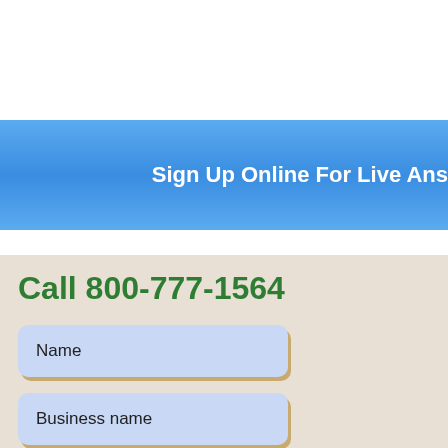Sign Up Online For Live Ans
Call 800-777-1564
Name
Business name
Email address
Phone number